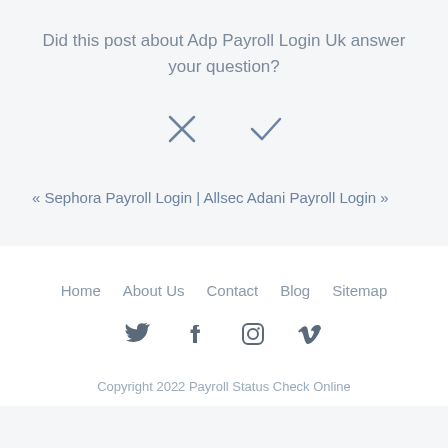Did this post about Adp Payroll Login Uk answer your question?
[Figure (other): X (close) and checkmark icons for yes/no response]
« Sephora Payroll Login | Allsec Adani Payroll Login »
Home   About Us   Contact   Blog   Sitemap
[Figure (other): Social media icons: Twitter, Facebook, Instagram, Vimeo]
Copyright 2022 Payroll Status Check Online